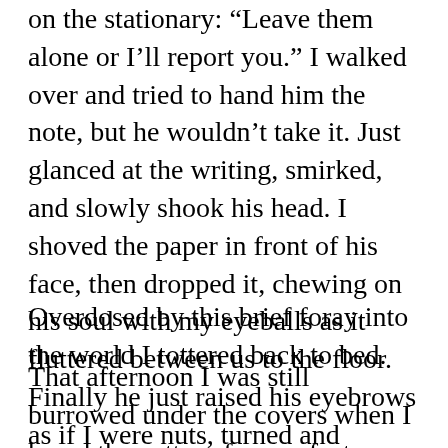on the stationary: “Leave them alone or I’ll report you.” I walked over and tried to hand him the note, but he wouldn’t take it. Just glanced at the writing, smirked, and slowly shook his head. I shoved the paper in front of his face, then dropped it, chewing on his soul with my eyeballs as it fluttered between us to the floor. Finally he just raised his eyebrows as if I were nuts, turned and walked away.
Overdosed by this brief foray into the world I tottered back to bed.
That afternoon I was still burrowed under the covers when I heard the patter of many feet. Grudgingly, I opened my eyes and saw that all the Vietnamese had gathered around